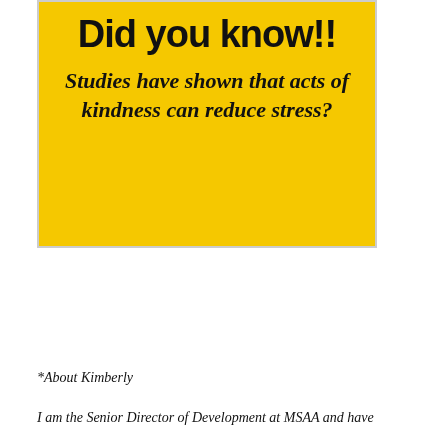[Figure (infographic): Yellow box with bold black text 'Did you know!!' at top and italic text 'Studies have shown that acts of kindness can reduce stress?' below]
*About Kimberly
I am the Senior Director of Development at MSAA and have